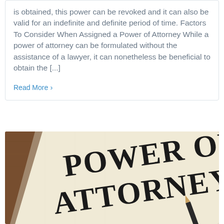is obtained, this power can be revoked and it can also be valid for an indefinite and definite period of time. Factors To Consider When Assigned a Power of Attorney While a power of attorney can be formulated without the assistance of a lawyer, it can nonetheless be beneficial to obtain the [...]
Read More ›
[Figure (photo): A photograph of a legal document with the text 'POWER OF ATTORNEY' printed in large serif letters on cream/off-white paper, placed on a wooden surface.]